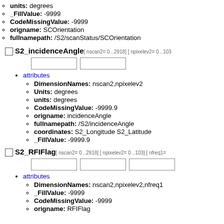units: degrees
_FillValue: -9999
CodeMissingValue: -9999
origname: SCOrientation
fullnamepath: /S2/scanStatus/SCOrientation
S2_incidenceAngle[ nscan2= 0 ..2918] [ npixelev2= 0 ..103
attributes
DimensionNames: nscan2,npixelev2
Units: degrees
units: degrees
CodeMissingValue: -9999.9
origname: incidenceAngle
fullnamepath: /S2/incidenceAngle
coordinates: S2_Longitude S2_Latitude
_FillValue: -9999.9
S2_RFIFlag[ nscan2= 0 ..2918] [ npixelev2= 0 ..103] [ nfreq1=
attributes
DimensionNames: nscan2,npixelev2,nfreq1
_FillValue: -9999
CodeMissingValue: -9999
origname: RFIFlag